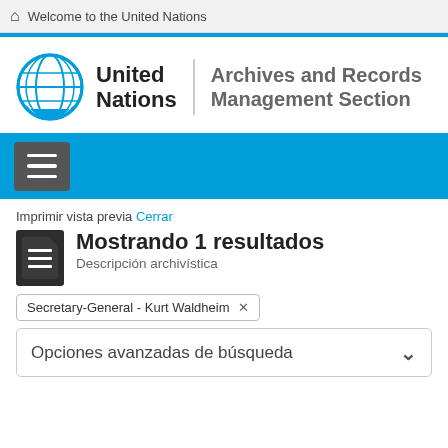Welcome to the United Nations
[Figure (screenshot): United Nations Archives and Records Management Section logo and wordmark]
Imprimir vista previa Cerrar
Mostrando 1 resultados
Descripción archivística
Secretary-General - Kurt Waldheim ×
Opciones avanzadas de búsqueda